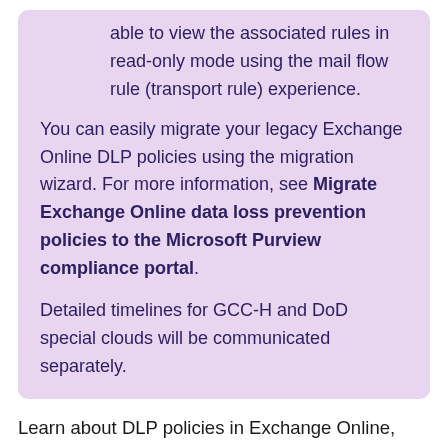able to view the associated rules in read-only mode using the mail flow rule (transport rule) experience.
You can easily migrate your legacy Exchange Online DLP policies using the migration wizard. For more information, see Migrate Exchange Online data loss prevention policies to the Microsoft Purview compliance portal.
Detailed timelines for GCC-H and DoD special clouds will be communicated separately.
Learn about DLP policies in Exchange Online, including what they contain and how to test them. You'll also learn about a new feature in Exchange DLP.
Data loss prevention (DLP) is an important issue for